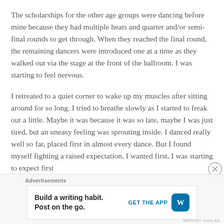The scholarships for the other age groups were dancing before mine because they had multiple heats and quarter and/or semi-final rounds to get through. When they reached the final round, the remaining dancers were introduced one at a time as they walked out via the stage at the front of the ballroom. I was starting to feel nervous.
I retreated to a quiet corner to wake up my muscles after sitting around for so long. I tried to breathe slowly as I started to freak out a little. Maybe it was because it was so late, maybe I was just tired, but an uneasy feeling was sprouting inside. I danced really well so far, placed first in almost every dance. But I found myself fighting a raised expectation. I wanted first, I was starting to expect first
Advertisements
Build a writing habit. Post on the go. GET THE APP